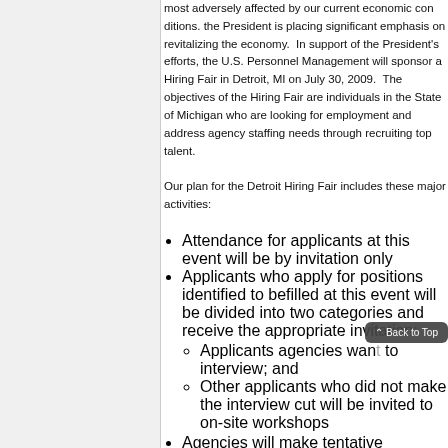most adversely affected by our current economic conditions. the President is placing significant emphasis on revitalizing the economy. In support of the President's efforts, the U.S. Office of Personnel Management will sponsor a Hiring Fair in Detroit, MI on July 30, 2009. The objectives of the Hiring Fair are to assist individuals in the State of Michigan who are looking for federal employment and address agency staffing needs through recruiting top talent.
Our plan for the Detroit Hiring Fair includes these major activities:
Attendance for applicants at this event will be by invitation only
Applicants who apply for positions identified to be filled at this event will be divided into two categories and receive the appropriate invitation:
Applicants agencies want to interview; and
Other applicants who did not make the interview cut will be invited to on-site workshops
Agencies will make tentative employment offers on-site